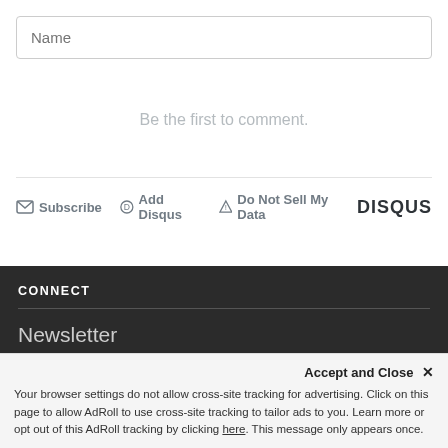Name
Be the first to comment.
Subscribe  Add Disqus  Do Not Sell My Data  DISQUS
CONNECT
Newsletter
Facebook
Accept and Close ✕  Your browser settings do not allow cross-site tracking for advertising. Click on this page to allow AdRoll to use cross-site tracking to tailor ads to you. Learn more or opt out of this AdRoll tracking by clicking here. This message only appears once.